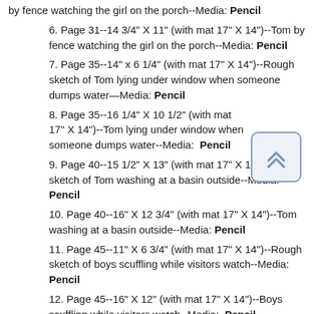by fence watching the girl on the porch--Media: Pencil
6. Page 31--14 3/4" X 11" (with mat 17" X 14")--Tom by fence watching the girl on the porch--Media: Pencil
7. Page 35--14" x 6 1/4" (with mat 17" X 14")--Rough sketch of Tom lying under window when someone dumps water—Media: Pencil
8. Page 35--16 1/4" X 10 1/2" (with mat 17" X 14")--Tom lying under window when someone dumps water--Media: Pencil
9. Page 40--15 1/2" X 13" (with mat 17" X 14")--Rough sketch of Tom washing at a basin outside--Media: Pencil
10. Page 40--16" X 12 3/4" (with mat 17" X 14")--Tom washing at a basin outside--Media: Pencil
11. Page 45--11" X 6 3/4" (with mat 17" X 14")--Rough sketch of boys scuffling while visitors watch--Media: Pencil
12. Page 45--16" X 12" (with mat 17" X 14")--Boys scuffling while visitors watch--Media: Pencil
13. Page 55--16" X 11 3/4" (with mat 17" X 14")--Congregation